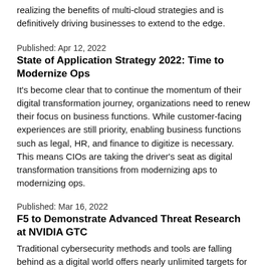realizing the benefits of multi-cloud strategies and is definitively driving businesses to extend to the edge.
Published: Apr 12, 2022
State of Application Strategy 2022: Time to Modernize Ops
It's become clear that to continue the momentum of their digital transformation journey, organizations need to renew their focus on business functions. While customer-facing experiences are still priority, enabling business functions such as legal, HR, and finance to digitize is necessary. This means CIOs are taking the driver's seat as digital transformation transitions from modernizing aps to modernizing ops.
Published: Mar 16, 2022
F5 to Demonstrate Advanced Threat Research at NVIDIA GTC
Traditional cybersecurity methods and tools are falling behind as a digital world offers nearly unlimited targets for attackers. Security companies need to capitalize on new